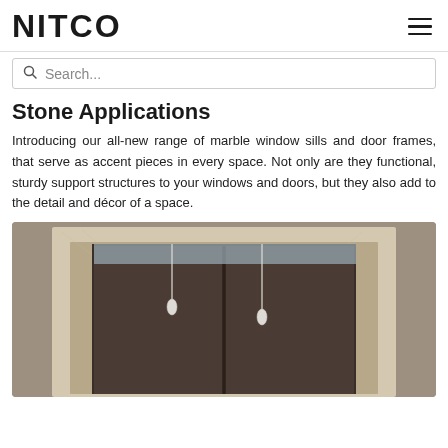NITCO
Search...
Stone Applications
Introducing our all-new range of marble window sills and door frames, that serve as accent pieces in every space. Not only are they functional, sturdy support structures to your windows and doors, but they also add to the detail and décor of a space.
[Figure (photo): Marble door frame surrounding a dark wooden door in a room with taupe/beige walls, with hanging pendant lights visible through the door opening]